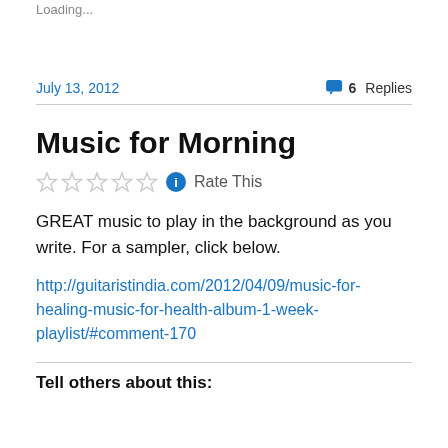Loading...
July 13, 2012
6 Replies
Music for Morning
Rate This
GREAT music to play in the background as you write. For a sampler, click below.
http://guitaristindia.com/2012/04/09/music-for-healing-music-for-health-album-1-week-playlist/#comment-170
Tell others about this: